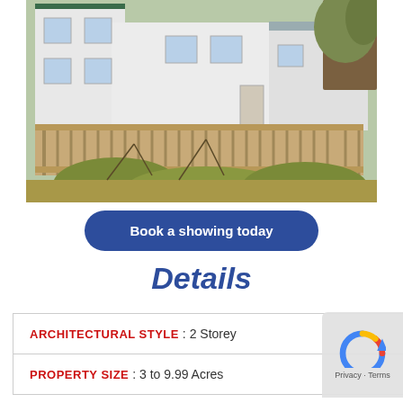[Figure (photo): Exterior photo of a white two-storey house with a wooden deck/fence, surrounded by dead vegetation and autumn leaves on the ground.]
Book a showing today
Details
| ARCHITECTURAL STYLE : 2 Storey |
| PROPERTY SIZE : 3 to 9.99 Acres |